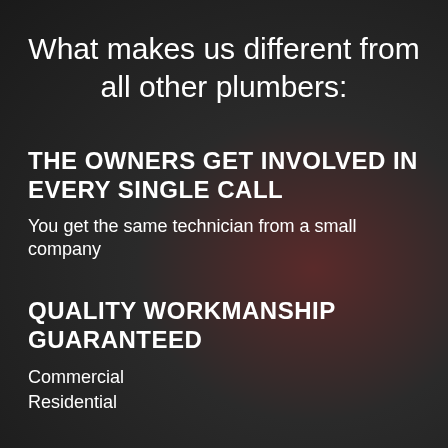What makes us different from all other plumbers:
THE OWNERS GET INVOLVED IN EVERY SINGLE CALL
You get the same technician from a small company
QUALITY WORKMANSHIP GUARANTEED
Commercial
Residential